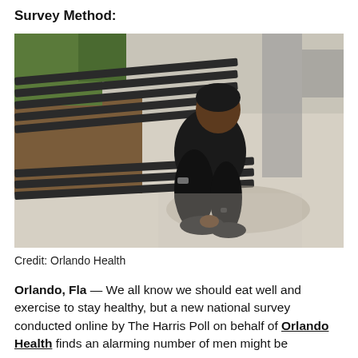Survey Method:
[Figure (photo): A man in a black t-shirt and black pants crouching down near a wooden park bench, tying his shoe on a concrete path outdoors. Sunlight creates shadows on the ground. There is mulch and greenery in the background.]
Credit: Orlando Health
Orlando, Fla — We all know we should eat well and exercise to stay healthy, but a new national survey conducted online by The Harris Poll on behalf of Orlando Health finds an alarming number of men might be